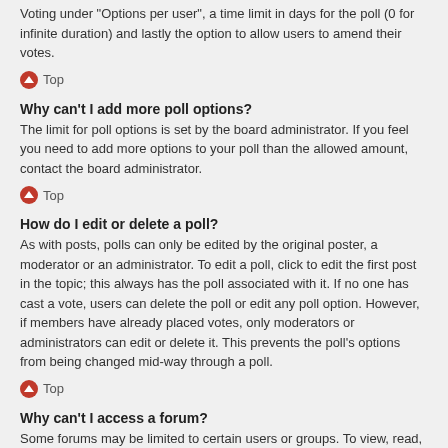Voting under "Options per user", a time limit in days for the poll (0 for infinite duration) and lastly the option to allow users to amend their votes.
Top
Why can't I add more poll options?
The limit for poll options is set by the board administrator. If you feel you need to add more options to your poll than the allowed amount, contact the board administrator.
Top
How do I edit or delete a poll?
As with posts, polls can only be edited by the original poster, a moderator or an administrator. To edit a poll, click to edit the first post in the topic; this always has the poll associated with it. If no one has cast a vote, users can delete the poll or edit any poll option. However, if members have already placed votes, only moderators or administrators can edit or delete it. This prevents the poll's options from being changed mid-way through a poll.
Top
Why can't I access a forum?
Some forums may be limited to certain users or groups. To view, read, post or perform another action you may need special permissions. Contact a moderator or board administrator to grant you access.